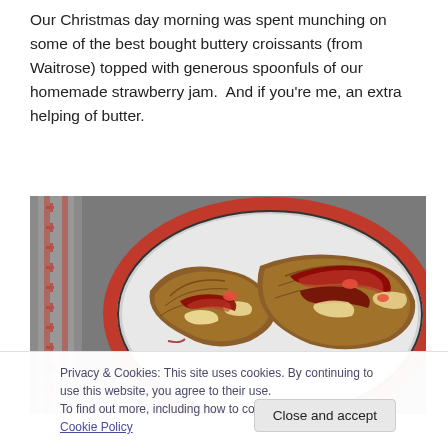Our Christmas day morning was spent munching on some of the best bought buttery croissants (from Waitrose) topped with generous spoonfuls of our homemade strawberry jam.  And if you're me, an extra helping of butter.
[Figure (photo): A red-rimmed white plate on a patterned grey cloth, holding croissants topped with strawberry jam and butter.]
Privacy & Cookies: This site uses cookies. By continuing to use this website, you agree to their use.
To find out more, including how to control cookies, see here: Cookie Policy